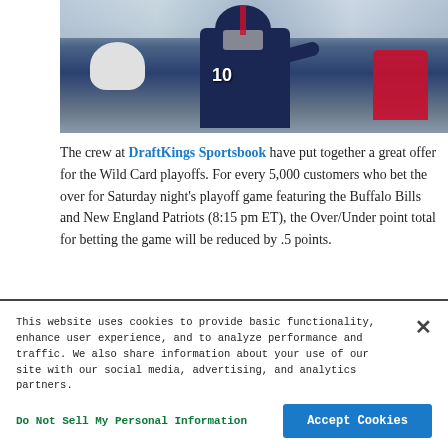[Figure (photo): NFL quarterback wearing jersey number 10 in dark navy New England Patriots uniform, crouching at the line of scrimmage with teammates, crowd visible in background]
The crew at DraftKings Sportsbook have put together a great offer for the Wild Card playoffs. For every 5,000 customers who bet the over for Saturday night's playoff game featuring the Buffalo Bills and New England Patriots (8:15 pm ET), the Over/Under point total for betting the game will be reduced by .5 points.
This website uses cookies to provide basic functionality, enhance user experience, and to analyze performance and traffic. We also share information about your use of our site with our social media, advertising, and analytics partners.
Do Not Sell My Personal Information
Accept Cookies